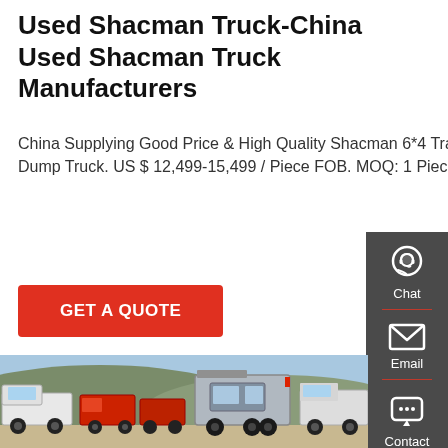Used Shacman Truck-China Used Shacman Truck Manufacturers
China Supplying Good Price & High Quality Shacman 6*4 Tractor 375 HP-450 HP 10 Wheels &12 Wheels Used Dump Truck. US $ 12,499-15,499 / Piece FOB. MOQ: 1 Piece. Engine Capacity : …
GET A QUOTE
[Figure (photo): Photograph of used Shacman trucks parked outdoors with hills in background; white truck on left, red trucks in middle, silver/grey Shacman tractor unit on right]
Chat
Email
Contact